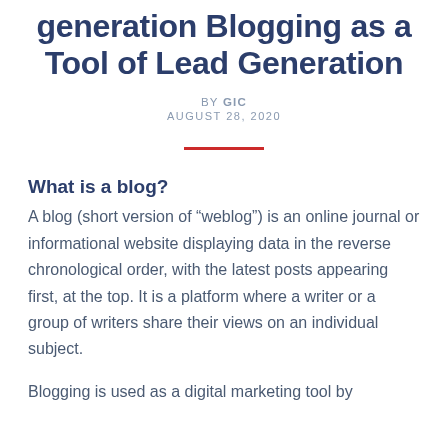generation Blogging as a Tool of Lead Generation
BY GIC
AUGUST 28, 2020
What is a blog?
A blog (short version of “weblog”) is an online journal or informational website displaying data in the reverse chronological order, with the latest posts appearing first, at the top. It is a platform where a writer or a group of writers share their views on an individual subject.
Blogging is used as a digital marketing tool by